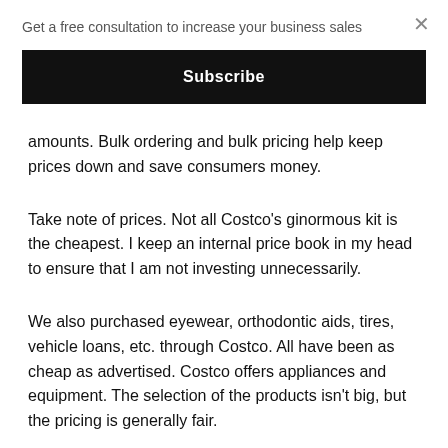Get a free consultation to increase your business sales
Subscribe
amounts. Bulk ordering and bulk pricing help keep prices down and save consumers money.
Take note of prices. Not all Costco's ginormous kit is the cheapest. I keep an internal price book in my head to ensure that I am not investing unnecessarily.
We also purchased eyewear, orthodontic aids, tires, vehicle loans, etc. through Costco. All have been as cheap as advertised. Costco offers appliances and equipment. The selection of the products isn't big, but the pricing is generally fair.